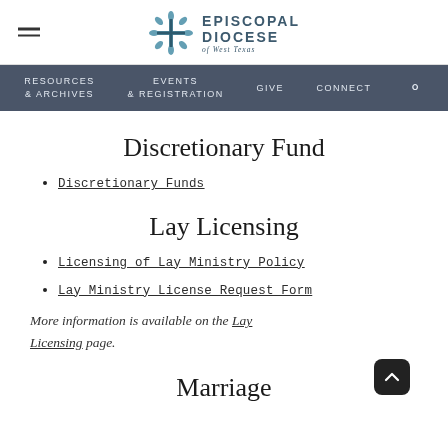Episcopal Diocese of West Texas — site header with navigation: Resources & Archives, Events & Registration, Give, Connect, Search
Discretionary Fund
Discretionary Funds
Lay Licensing
Licensing of Lay Ministry Policy
Lay Ministry License Request Form
More information is available on the Lay Licensing page.
Marriage